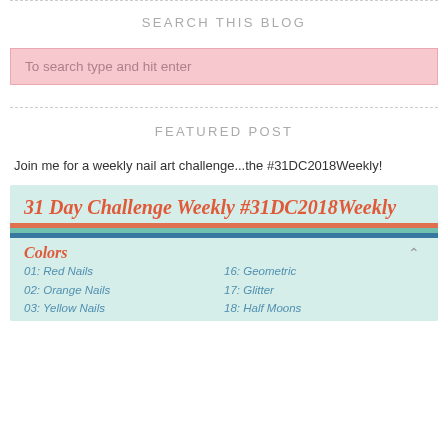SEARCH THIS BLOG
To search type and hit enter
FEATURED POST
Join me for a weekly nail art challenge...the #31DC2018Weekly!
[Figure (infographic): 31 Day Challenge Weekly #31DC2018Weekly card with colored stripes and a two-column list of nail art challenge items. Colors section header in red italic, list items in blue italic: 01: Red Nails, 02: Orange Nails, 03: Yellow Nails on left; 16: Geometric, 17: Glitter, 18: Half Moons on right.]